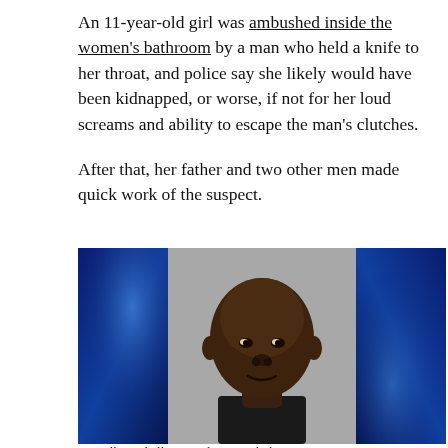An 11-year-old girl was ambushed inside the women's bathroom by a man who held a knife to her throat, and police say she likely would have been kidnapped, or worse, if not for her loud screams and ability to escape the man's clutches.
After that, her father and two other men made quick work of the suspect.
[Figure (photo): Mug shot photo of a bald Black man against a gray background, flanked by dark blue panels on left and right sides.]
Darnell Mitchell, 33, is shown with the suspect. Additional text is cut off.